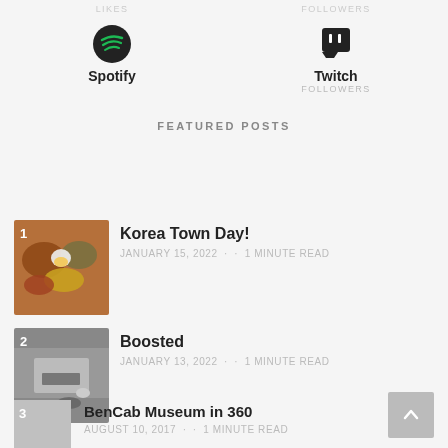LIKES   FOLLOWERS
[Figure (logo): Spotify circular logo icon]
Spotify
[Figure (logo): Twitch speech bubble logo icon]
Twitch
FOLLOWERS
FEATURED POSTS
[Figure (photo): Korean food dishes including bibimbap and side dishes, numbered 1]
Korea Town Day!
JANUARY 15, 2022 · · 1 MINUTE READ
[Figure (photo): Person with smartwatch and phone on table, numbered 2]
Boosted
JANUARY 13, 2022 · · 1 MINUTE READ
[Figure (photo): Gray placeholder thumbnail, numbered 3]
BenCab Museum in 360
AUGUST 10, 2017 · · 1 MINUTE READ